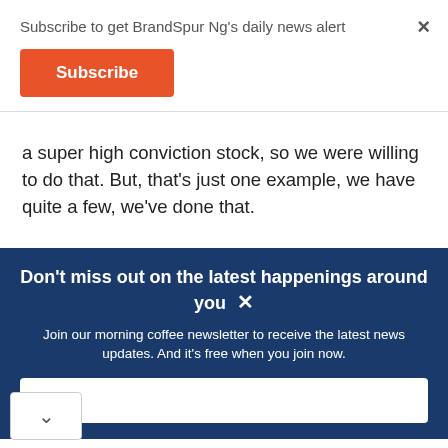Subscribe to get BrandSpur Ng's daily news alert
Subscribe
a super high conviction stock, so we were willing to do that. But, that's just one example, we have quite a few, we've done that.
Don't miss out on the latest happenings around you
Join our morning coffee newsletter to receive the latest news updates. And it's free when you join now.
Email
Book a Same Day Appointment
Hair Cuttery